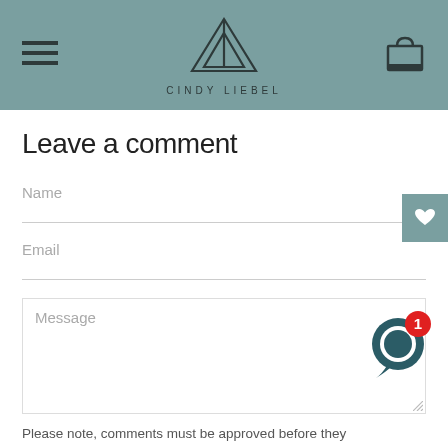[Figure (logo): Cindy Liebel brand header with hamburger menu icon on left, triangular mountain/tent logo with brand name CINDY LIEBEL centered, and shopping bag icon on right, on a muted teal/slate background.]
Leave a comment
Name
Email
Message
Please note, comments must be approved before they